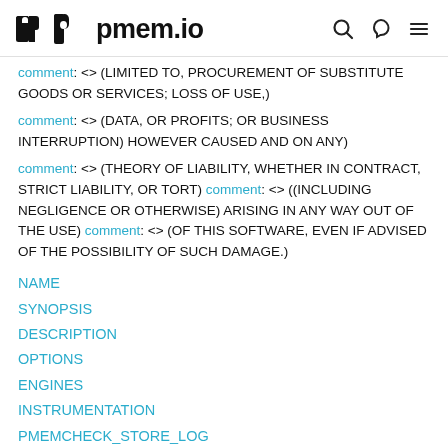pmem.io
comment: <> (LIMITED TO, PROCUREMENT OF SUBSTITUTE GOODS OR SERVICES; LOSS OF USE,)
comment: <> (DATA, OR PROFITS; OR BUSINESS INTERRUPTION) HOWEVER CAUSED AND ON ANY)
comment: <> (THEORY OF LIABILITY, WHETHER IN CONTRACT, STRICT LIABILITY, OR TORT) comment: <> ((INCLUDING NEGLIGENCE OR OTHERWISE) ARISING IN ANY WAY OUT OF THE USE) comment: <> (OF THIS SOFTWARE, EVEN IF ADVISED OF THE POSSIBILITY OF SUCH DAMAGE.)
NAME
SYNOPSIS
DESCRIPTION
OPTIONS
ENGINES
INSTRUMENTATION
PMEMCHECK_STORE_LOG